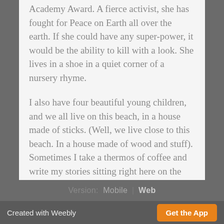Academy Award. A fierce activist, she has fought for Peace on Earth all over the earth. If she could have any super-power, it would be the ability to kill with a look. She lives in a shoe in a quiet corner of a nursery rhyme.

I also have four beautiful young children, and we all live on this beach, in a house made of sticks. (Well, we live close to this beach. In a house made of wood and stuff). Sometimes I take a thermos of coffee and write my stories sitting right here on the beach. What a wonderful job this is!
Version:  Mobile |  Web
Created with Weebly   Get the App